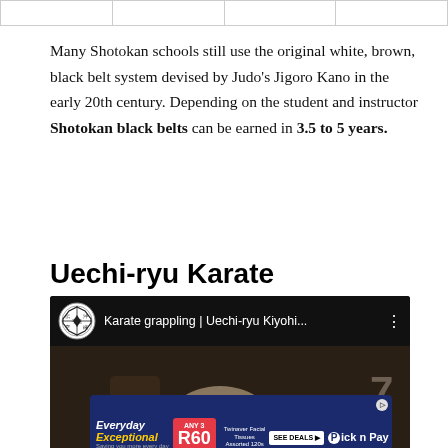|  |  |  |  |
Many Shotokan schools still use the original white, brown, black belt system devised by Judo's Jigoro Kano in the early 20th century. Depending on the student and instructor Shotokan black belts can be earned in 3.5 to 5 years.
Uechi-ryu Karate
[Figure (screenshot): YouTube-style video thumbnail showing 'Karate grappling | Uechi-ryu Kiyohi...' with a circular logo and a martial artist in white gi]
[Figure (photo): Pick n Pay advertisement banner - Everyday Exceptional, ANY 3 for R60, SAVE R33, Twinaver Facial Tissues Assorted 120s, SEE DEALS button]